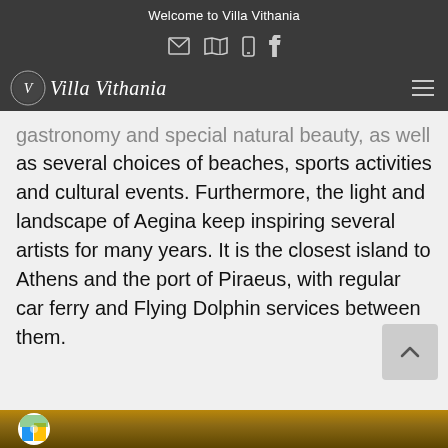Welcome to Villa Vithania
gastronomy and special natural beauty, as well as several choices of beaches, sports activities and cultural events. Furthermore, the light and landscape of Aegina keep inspiring several artists for many years. It is the closest island to Athens and the port of Piraeus, with regular car ferry and Flying Dolphin services between them.
[Figure (photo): Bottom strip showing a partial photo, likely of Villa Vithania or Aegina scenery, with a circular badge/logo on the left.]